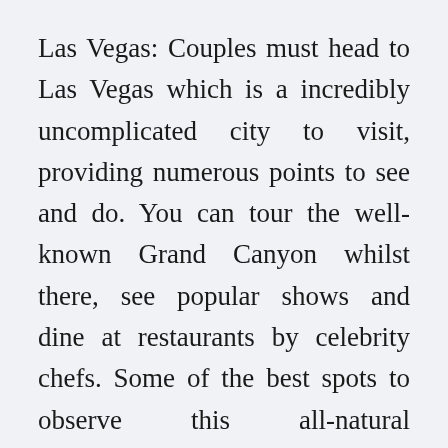Las Vegas: Couples must head to Las Vegas which is a incredibly uncomplicated city to visit, providing numerous points to see and do. You can tour the well-known Grand Canyon whilst there, see popular shows and dine at restaurants by celebrity chefs. Some of the best spots to observe this all-natural phenomenon are Vermont, Maine, New Hampshire, Upstate New York, Virginia, the Southeast, Midwest, Oregon, California, Colorado and quite a few other